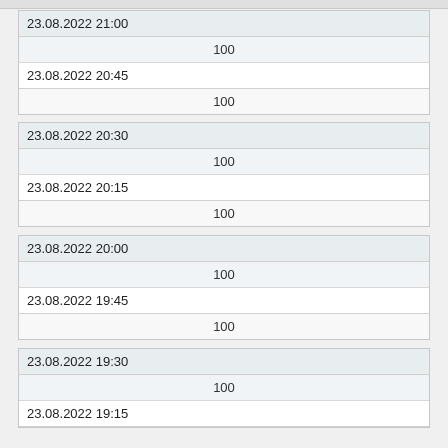| 23.08.2022 21:00 | 23.08.2022 20:45 |
| --- | --- |
| 100 |
| 100 |
| 23.08.2022 20:30 | 23.08.2022 20:15 |
| --- | --- |
| 100 |
| 100 |
| 23.08.2022 20:00 | 23.08.2022 19:45 |
| --- | --- |
| 100 |
| 100 |
| 23.08.2022 19:30 | 23.08.2022 19:15 |
| --- | --- |
| 100 |
|  |